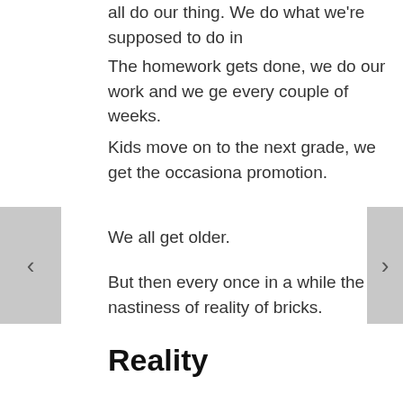all do our thing. We do what we're supposed to do in
The homework gets done, we do our work and we ge every couple of weeks.
Kids move on to the next grade, we get the occasiona promotion.
We all get older.
But then every once in a while the nastiness of reality of bricks.
Reality
Someone in the family gets sick. Really sick. Or dies.
Friends who we swore had a rock solid marriage get